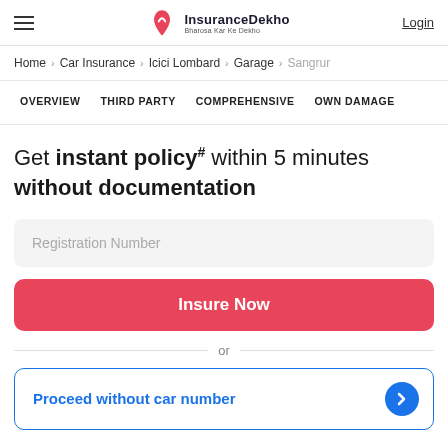InsuranceDekho – Bharosa Kar Ke Dekho | Login
Home > Car Insurance > Icici Lombard > Garage > Sangrur
OVERVIEW    THIRD PARTY    COMPREHENSIVE    OWN DAMAGE
Get instant policy# within 5 minutes without documentation
Registration Number
Insure Now
or
Proceed without car number